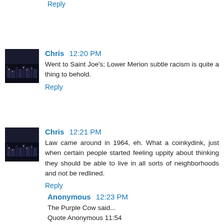Reply
Chris  12:20 PM
Went to Saint Joe's; Lower Merion subtle racism is quite a thing to behold.
Reply
Chris  12:21 PM
Law came around in 1964, eh. What a coinkydink, just when certain people started feeling uppity about thinking they should be able to live in all sorts of neighborhoods and not be redlined.
Reply
Anonymous  12:23 PM
The Purple Cow said...
Quote Anonymous 11:54